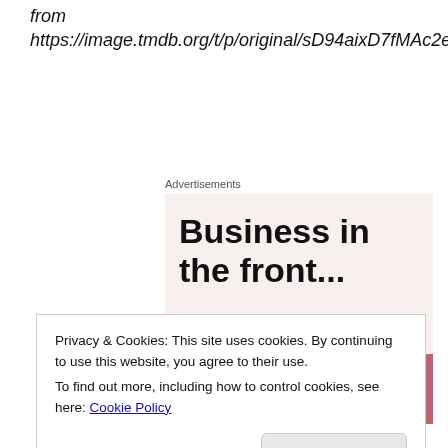from https://image.tmdb.org/t/p/original/sD94aixD7fMAc2e9ugbv4KQprBL.jpg
Advertisements
[Figure (screenshot): Advertisement box showing 'Business in the front...' headline on light pink background, with WordPress gradient banner below in orange to pink gradient.]
Privacy & Cookies: This site uses cookies. By continuing to use this website, you agree to their use.
To find out more, including how to control cookies, see here: Cookie Policy
Close and accept